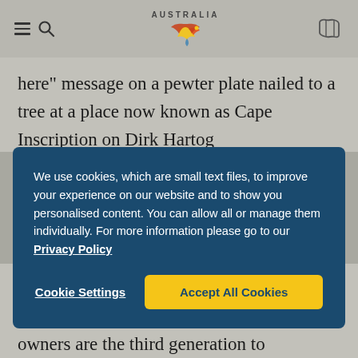Tourism Australia website header with menu, Australia logo, and map icon
here” message on a pewter plate nailed to a tree at a place now known as Cape Inscription on Dirk Hartog
We use cookies, which are small text files, to improve your experience on our website and to show you personalised content. You can allow all or manage them individually. For more information please go to our Privacy Policy
Cookie Settings
Accept All Cookies
Eco Lodge, the only established accommodation on the island. The young owners are the third generation to